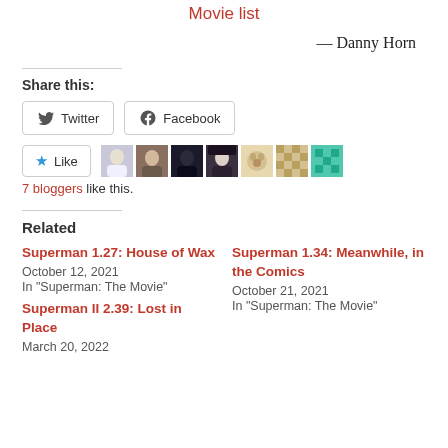Movie list
— Danny Horn
Share this:
Twitter  Facebook
[Figure (other): Like button with star icon and 7 blogger avatar thumbnails]
7 bloggers like this.
Related
Superman 1.27: House of Wax
October 12, 2021
In "Superman: The Movie"
Superman 1.34: Meanwhile, in the Comics
October 21, 2021
In "Superman: The Movie"
Superman II 2.39: Lost in Place
March 20, 2022